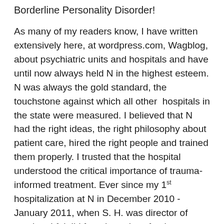Borderline Personality Disorder!
As many of my readers know, I have written extensively here, at wordpress.com, Wagblog, about psychiatric units and hospitals and have until now always held N in the highest esteem. N was always the gold standard, the touchstone against which all other hospitals in the state were measured. I believed that N had the right ideas, the right philosophy about patient care, hired the right people and trained them properly. I trusted that the hospital understood the critical importance of trauma-informed treatment. Ever since my 1st hospitalization at N in December 2010 - January 2011, when S. H. was director of nursing, I felt I'd found a truly safe place, an asylum in the best sense of the word, where troubled patients would never be brutalized by staff more bent on coercion and a lust for power than compassionate care.
I have been hospitalized at N four times now. The first three times bore out these high expectations, but this last time was